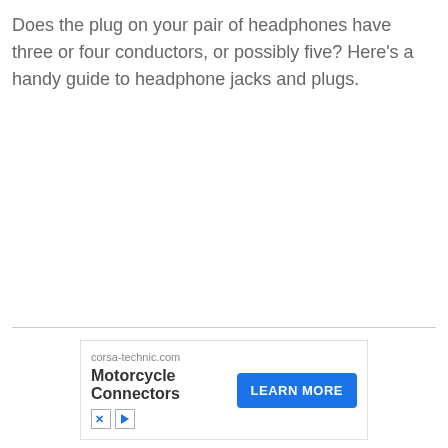Does the plug on your pair of headphones have three or four conductors, or possibly five? Here's a handy guide to headphone jacks and plugs.
[Figure (other): Advertisement banner for corsa-technic.com featuring Motorcycle Connectors with a blue LEARN MORE button and X and play icons]